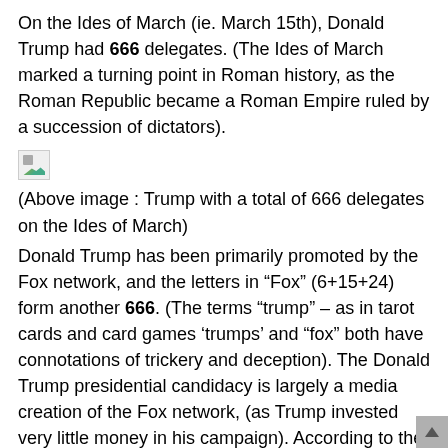On the Ides of March (ie. March 15th), Donald Trump had 666 delegates. (The Ides of March marked a turning point in Roman history, as the Roman Republic became a Roman Empire ruled by a succession of dictators).
[Figure (illustration): Broken/missing image placeholder icon (small image with landscape thumbnail)]
(Above image : Trump with a total of 666 delegates on the Ides of March)
Donald Trump has been primarily promoted by the Fox network, and the letters in “Fox” (6+15+24) form another 666. (The terms “trump” – as in tarot cards and card games ‘trumps’ and “fox” both have connotations of trickery and deception). The Donald Trump presidential candidacy is largely a media creation of the Fox network, (as Trump invested very little money in his campaign). According to the bible, a “little horn” (ie. trumpet) : [Daniel 7:8] someone who rises up unexpectedly (Trump was a minor TV celebrity and a real estate salesman before he decided to run for president; no one took him seriously at first). Who else has ever been the center of